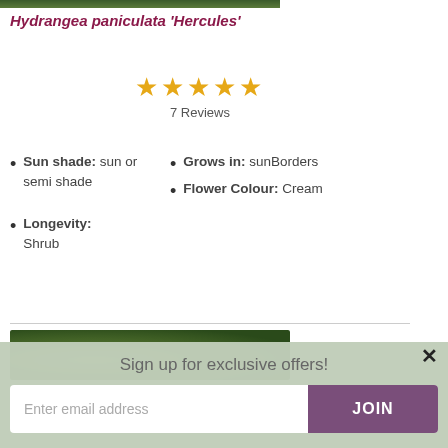[Figure (photo): Top partial image of plant/hydrangea foliage]
Hydrangea paniculata 'Hercules'
[Figure (other): 5 gold star rating with '7 Reviews' text below]
Sun shade: sun or semi shade
Grows in: sunBorders
Flower Colour: Cream
Longevity: Shrub
[Figure (photo): Bottom partial image of plant/hydrangea foliage]
Sign up for exclusive offers!
Enter email address
JOIN